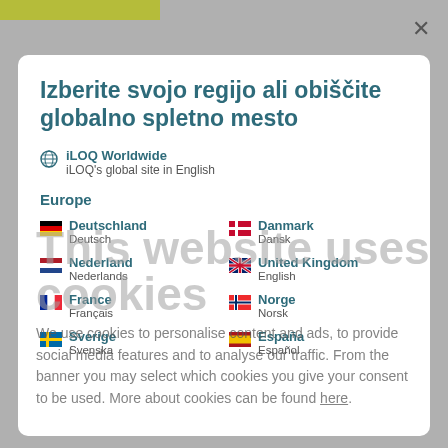Izberite svojo regijo ali obiščite globalno spletno mesto
iLOQ Worldwide
iLOQ's global site in English
Europe
Deutschland
Deutsch
Danmark
Dansk
Nederland
Nederlands
United Kingdom
English
France
Français
Norge
Norsk
Sverige
Svenska
España
Español
This website uses cookies
We use cookies to personalise content and ads, to provide social media features and to analyse our traffic. From the banner you may select which cookies you give your consent to be used. More about cookies can be found here.